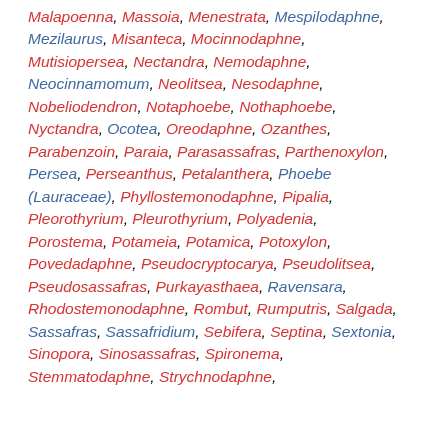Malapoenna, Massoia, Menestrata, Mespilodaphne, Mezilaurus, Misanteca, Mocinnodaphne, Mutisiopersea, Nectandra, Nemodaphne, Neocinnamomum, Neolitsea, Nesodaphne, Nobeliodendron, Notaphoebe, Nothaphoebe, Nyctandra, Ocotea, Oreodaphne, Ozanthes, Parabenzoin, Paraia, Parasassafras, Parthenoxylon, Persea, Perseanthus, Petalanthera, Phoebe (Lauraceae), Phyllostemonodaphne, Pipalia, Pleorothyrium, Pleurothyrium, Polyadenia, Porostema, Potameia, Potamica, Potoxylon, Povedadaphne, Pseudocryptocarya, Pseudolitsea, Pseudosassafras, Purkayasthaea, Ravensara, Rhodostemonodaphne, Rombut, Rumputris, Salgada, Sassafras, Sassafridium, Sebifera, Septina, Sextonia, Sinopora, Sinosassafras, Spironema, Stemmatodaphne, Strychnodaphne,